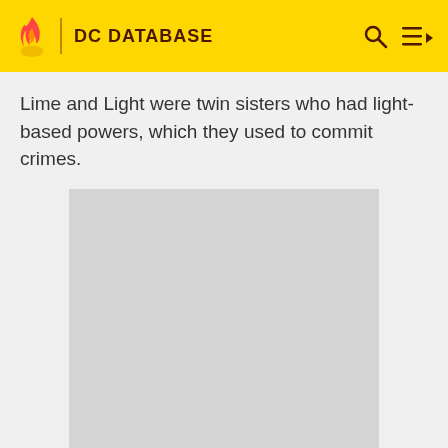DC DATABASE
Lime and Light were twin sisters who had light-based powers, which they used to commit crimes.
[Figure (other): Gray advertisement placeholder box]
ADVERTISEMENT